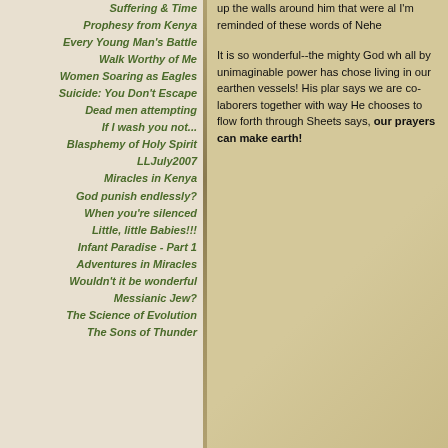Suffering & Time
Prophesy from Kenya
Every Young Man's Battle
Walk Worthy of Me
Women Soaring as Eagles
Suicide: You Don't Escape
Dead men attempting
If I wash you not...
Blasphemy of Holy Spirit
LLJuly2007
Miracles in Kenya
God punish endlessly?
When you're silenced
Little, little Babies!!!
Infant Paradise - Part 1
Adventures in Miracles
Wouldn't it be wonderful
Messianic Jew?
The Science of Evolution
The Sons of Thunder
up the walls around him that were al I'm reminded of these words of Nehe
It is so wonderful--the mighty God wh all by unimaginable power has chose living in our earthen vessels! His plar says we are co-laborers together with way He chooses to flow forth through Sheets says, our prayers can make earth!